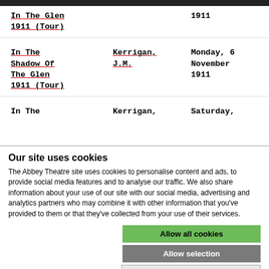| Title | Author | Date |
| --- | --- | --- |
| In The Shadow Of The Glen 1911 (Tour) |  | 1911 |
| In The Shadow Of The Glen 1911 (Tour) | Kerrigan, J.M. | Monday, 6 November 1911 |
| In The... | Kerrigan, | Saturday, |
Our site uses cookies
The Abbey Theatre site uses cookies to personalise content and ads, to provide social media features and to analyse our traffic. We also share information about your use of our site with our social media, advertising and analytics partners who may combine it with other information that you've provided to them or that they've collected from your use of their services.
Allow all cookies
Allow selection
Use necessary cookies only
Necessary  Preferences  Statistics  Marketing  Show details